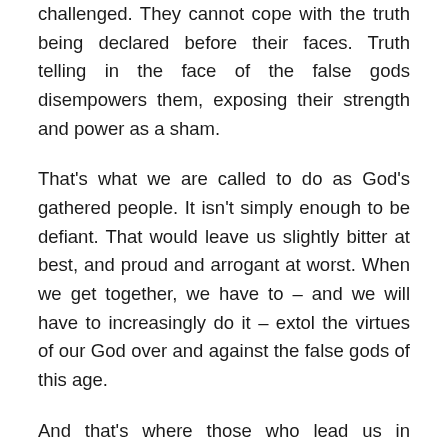challenged. They cannot cope with the truth being declared before their faces. Truth telling in the face of the false gods disempowers them, exposing their strength and power as a sham.
That's what we are called to do as God's gathered people. It isn't simply enough to be defiant. That would leave us slightly bitter at best, and proud and arrogant at worst. When we get together, we have to – and we will have to increasingly do it – extol the virtues of our God over and against the false gods of this age.
And that's where those who lead us in corporate worship will have to get their act together. The slightly sentimental, non-historical songs that centre on "I" in our corporate worship won't cut it. I